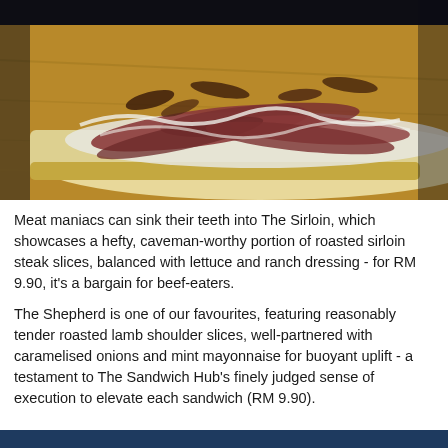[Figure (photo): Close-up photo of an open-faced sandwich with roasted sirloin steak slices, white sauce/dressing, and caramelised toppings on flatbread, placed on a wooden board against a dark background.]
Meat maniacs can sink their teeth into The Sirloin, which showcases a hefty, caveman-worthy portion of roasted sirloin steak slices, balanced with lettuce and ranch dressing - for RM 9.90, it's a bargain for beef-eaters.
The Shepherd is one of our favourites, featuring reasonably tender roasted lamb shoulder slices, well-partnered with caramelised onions and mint mayonnaise for buoyant uplift - a testament to The Sandwich Hub's finely judged sense of execution to elevate each sandwich (RM 9.90).